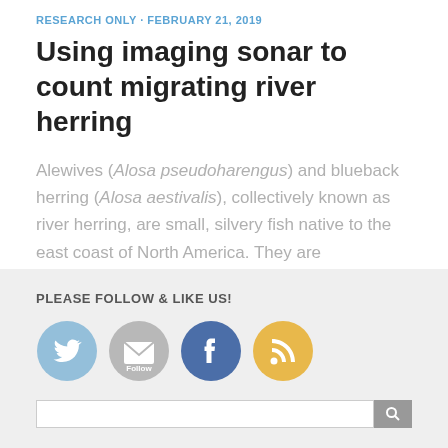RESEARCH ONLY · FEBRUARY 21, 2019
Using imaging sonar to count migrating river herring
Alewives (Alosa pseudoharengus) and blueback herring (Alosa aestivalis), collectively known as river herring, are small, silvery fish native to the east coast of North America. They are anadromous, meaning they spend most of their...
PLEASE FOLLOW & LIKE US!
[Figure (other): Social media icons: Twitter (blue bird), Email Follow (gray envelope), Facebook (blue f), RSS feed (yellow/orange)]